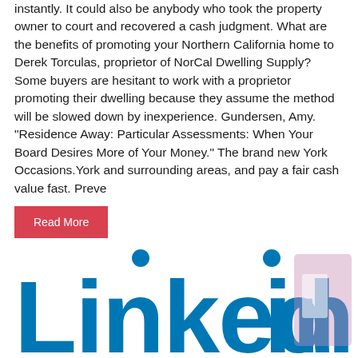instantly. It could also be anybody who took the property owner to court and recovered a cash judgment. What are the benefits of promoting your Northern California home to Derek Torculas, proprietor of NorCal Dwelling Supply? Some buyers are hesitant to work with a proprietor promoting their dwelling because they assume the method will be slowed down by inexperience. Gundersen, Amy. "Residence Away: Particular Assessments: When Your Board Desires More of Your Money." The brand new York Occasions.York and surrounding areas, and pay a fair cash value fast. Preve
Read More
[Figure (logo): LinkedIn logo — large blue text 'Linked in' with the characteristic LinkedIn wordmark, partially cropped at right edge with a pinkish-purple overlay rectangle]